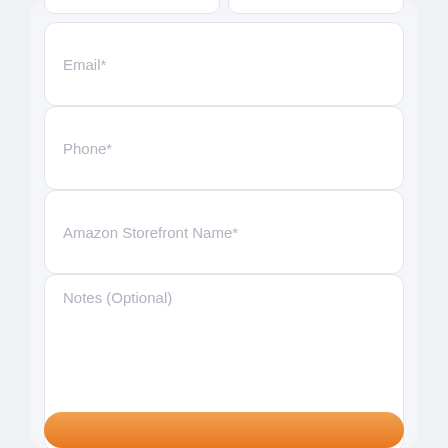Email*
Phone*
Amazon Storefront Name*
Notes (Optional)